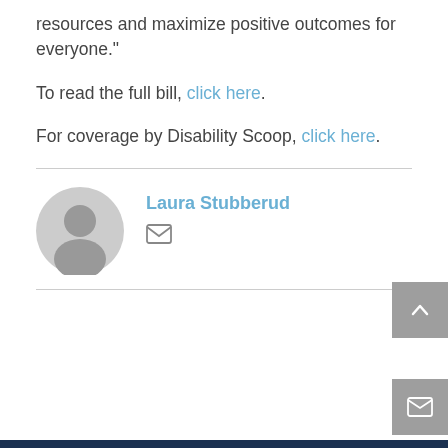resources and maximize positive outcomes for everyone."
To read the full bill, click here.
For coverage by Disability Scoop, click here.
Laura Stubberud